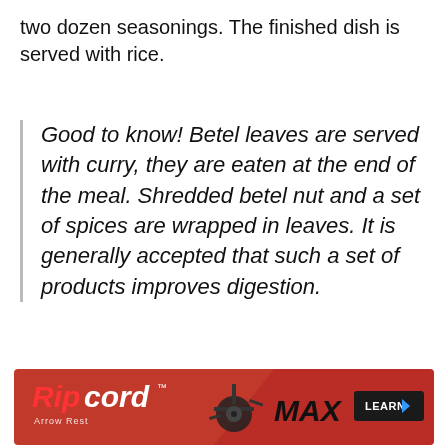two dozen seasonings. The finished dish is served with rice.
Good to know! Betel leaves are served with curry, they are eaten at the end of the meal. Shredded betel nut and a set of spices are wrapped in leaves. It is generally accepted that such a set of products improves digestion.
[Figure (other): Ripcord Arrow Rest advertisement banner with product image and MAX branding, red background with LEARN button]